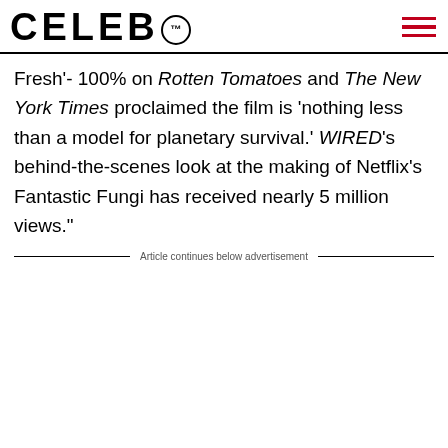CELEB™
Fresh'- 100% on Rotten Tomatoes and The New York Times proclaimed the film is 'nothing less than a model for planetary survival.' WIRED's behind-the-scenes look at the making of Netflix's Fantastic Fungi has received nearly 5 million views."
Article continues below advertisement